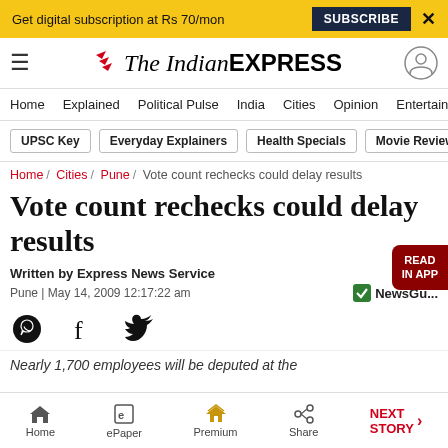Get digital subscription at Rs 70/mon  SUBSCRIBE  X
The Indian EXPRESS
Home / Explained / Political Pulse / India / Cities / Opinion / Entertainment
UPSC Key  Everyday Explainers  Health Specials  Movie Reviews
Home / Cities / Pune / Vote count rechecks could delay results
Vote count rechecks could delay results
Written by Express News Service
Pune | May 14, 2009 12:17:22 am
Nearly 1,700 employees will be deputed at the
Home  ePaper  Premium  Share  NEXT STORY